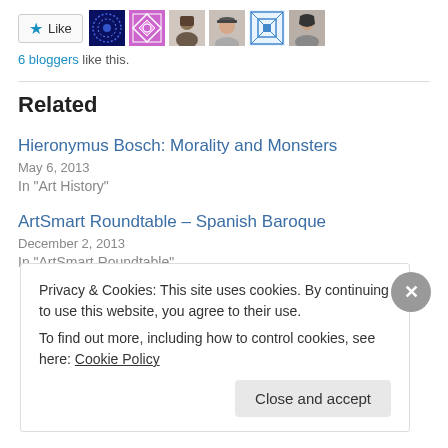[Figure (other): Like button with star icon and 6 blogger avatar thumbnails]
6 bloggers like this.
Related
Hieronymus Bosch: Morality and Monsters
May 6, 2013
In "Art History"
ArtSmart Roundtable – Spanish Baroque
December 2, 2013
In "ArtSmart Roundtable"
Privacy & Cookies: This site uses cookies. By continuing to use this website, you agree to their use.
To find out more, including how to control cookies, see here: Cookie Policy